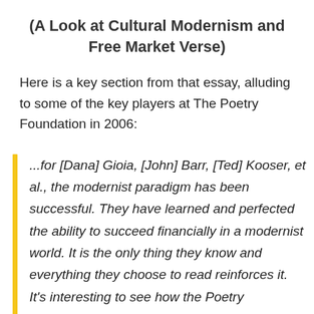(A Look at Cultural Modernism and Free Market Verse)
Here is a key section from that essay, alluding to some of the key players at The Poetry Foundation in 2006:
...for [Dana] Gioia, [John] Barr, [Ted] Kooser, et al., the modernist paradigm has been successful. They have learned and perfected the ability to succeed financially in a modernist world. It is the only thing they know and everything they choose to read reinforces it. It's interesting to see how the Poetry Foundation,